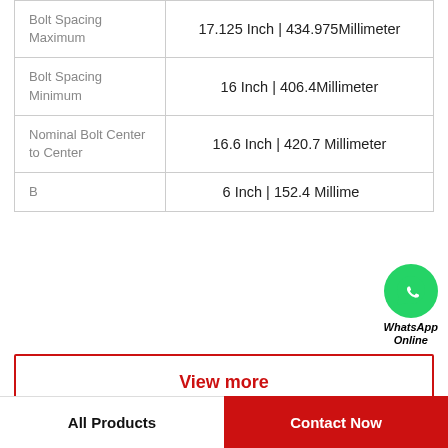| Property | Value |
| --- | --- |
| Bolt Spacing Maximum | 17.125 Inch | 434.975Millimeter |
| Bolt Spacing Minimum | 16 Inch | 406.4Millimeter |
| Nominal Bolt Center to Center | 16.6 Inch | 420.7 Millimeter |
| B | 6 Inch | 152.4 Millimeter |
[Figure (logo): WhatsApp Online green circle icon with phone handset, labeled WhatsApp Online]
View more
Company Profile
AMERICAN NTN BEARING CORP.
All Products
Contact Now